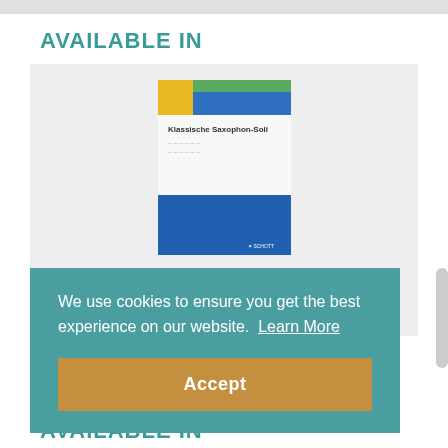AVAILABLE IN
[Figure (illustration): Book cover for Klassische Saxophon-Soli showing a white upper portion with yellow and green accent squares, blue lower portion, and the Schott publisher logo]
Klassiche Saxophon-Soli - Bb saxophone & piano (Schott)
We use cookies to ensure you get the best experience on our website.  Learn More
Accept
AVAILABLE IN